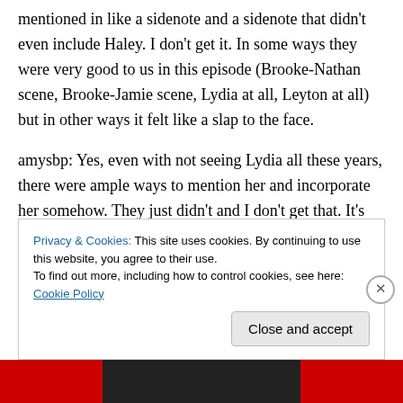mentioned in like a sidenote and a sidenote that didn't even include Haley. I don't get it. In some ways they were very good to us in this episode (Brooke-Nathan scene, Brooke-Jamie scene, Lydia at all, Leyton at all) but in other ways it felt like a slap to the face.
amysbp: Yes, even with not seeing Lydia all these years, there were ample ways to mention her and incorporate her somehow. They just didn't and I don't get that. It's poor storytelling
Privacy & Cookies: This site uses cookies. By continuing to use this website, you agree to their use.
To find out more, including how to control cookies, see here: Cookie Policy